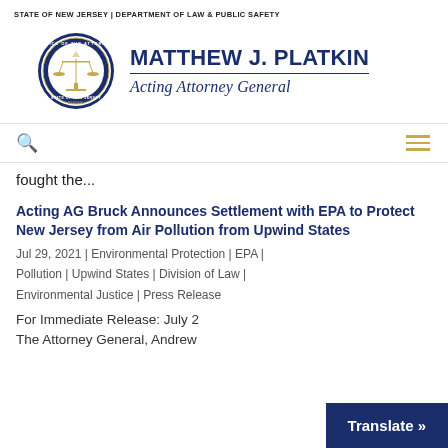STATE OF NEW JERSEY | DEPARTMENT OF LAW & PUBLIC SAFETY
[Figure (logo): Office of the Attorney General, State of New Jersey seal with scales of justice]
MATTHEW J. PLATKIN
Acting Attorney General
fought the...
Acting AG Bruck Announces Settlement with EPA to Protect New Jersey from Air Pollution from Upwind States
Jul 29, 2021 | Environmental Protection | EPA | Pollution | Upwind States | Division of Law | Environmental Justice | Press Release
For Immediate Release: July 2
The Attorney General, Andrew...